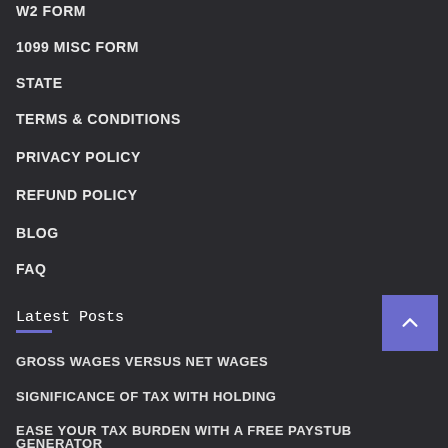W2 FORM
1099 MISC FORM
STATE
TERMS & CONDITIONS
PRIVACY POLICY
REFUND POLICY
BLOG
FAQ
Latest Posts
GROSS WAGES VERSUS NET WAGES
SIGNIFICANCE OF TAX WITH HOLDING
EASE YOUR TAX BURDEN WITH A FREE PAYSTUB GENERATOR